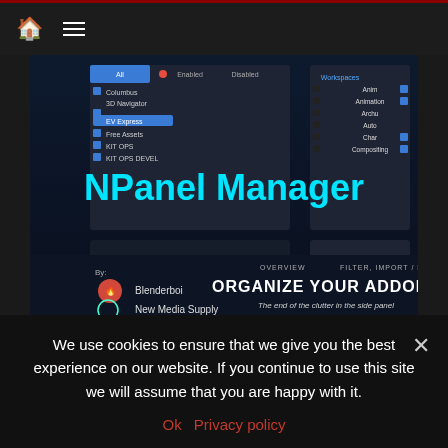Navigation bar with home icon and menu icon
[Figure (screenshot): NPanel Manager addon promotional screenshot showing Blender N-panel management UI with 'NPanel Manager' title in cyan text, 'By Blenderboi' and 'New Media Supply' credits, 'ORGANIZE YOUR ADDONS - The end of the clutter in the side panel' tagline]
Featured
Functionality
Paid
N Panel Manager addon
We use cookies to ensure that we give you the best experience on our website. If you continue to use this site we will assume that you are happy with it.
Ok   Privacy policy